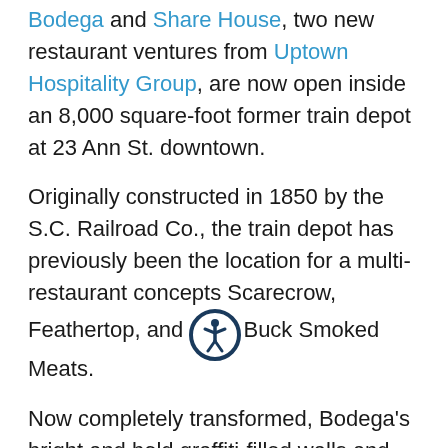Bodega and Share House, two new restaurant ventures from Uptown Hospitality Group, are now open inside an 8,000 square-foot former train depot at 23 Ann St. downtown.
Originally constructed in 1850 by the S.C. Railroad Co., the train depot has previously been the location for a multi-restaurant concepts Scarecrow, Feathertop, and W Buck Smoked Meats.
Now completely transformed, Bodega's bright and bold graffiti-filled walls and colorful tiles are a nod to bodegas found in New York with custom works from local Charleston artist Jennifer Griffith. Next door, Share House features coastal cantina beachy décor with a large bottle-cap mural and sea glass and crushed shell tabby-topped bar.